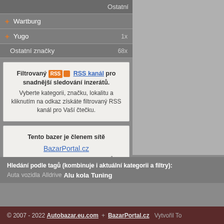Ostatní
+ Wartburg
+ Yugo 1x
Ostatní značky 68x
Filtrovaný RSS RSS kanál pro snadnější sledování inzerátů. Vyberte kategorii, značku, lokalitu a kliknutím na odkaz získáte filtrovaný RSS kanál pro Vaší čtečku.
Tento bazer je členem sítě BazarPortal.cz Sdružením oborových online bazarů.
Hledání podle tagů (kombinuje i aktuální kategorii a filtry): Auta vozidla Alldrive Alu kola Tuning
© 2007 - 2022 Autobazar.eu.com + BazarPortal.cz Vytvořil To